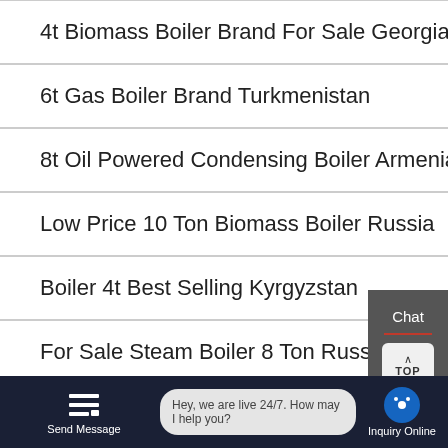4t Biomass Boiler Brand For Sale Georgia
6t Gas Boiler Brand Turkmenistan
8t Oil Powered Condensing Boiler Armenia
Low Price 10 Ton Biomass Boiler Russia
Boiler 4t Best Selling Kyrgyzstan
For Sale Steam Boiler 8 Ton Russia
hot sale szl coal fired steam boiler
HOT NEWS
Chat
TOP
Email
Contact us now!
Send Message
Hey, we are live 24/7. How may I help you?
Inquiry Online